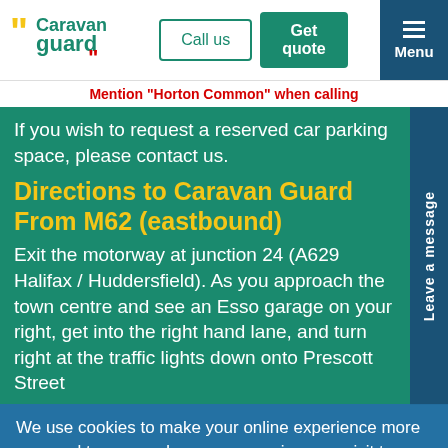[Figure (logo): Caravan Guard logo with yellow quotation marks and red accent]
Call us
Get quote
Menu
Mention "Horton Common" when calling
If you wish to request a reserved car parking space, please contact us.
Directions to Caravan Guard From M62 (eastbound)
Exit the motorway at junction 24 (A629 Halifax / Huddersfield). As you approach the town centre and see an Esso garage on your right, get into the right hand lane, and turn right at the traffic lights down onto Prescott Street
Leave a message
We use cookies to make your online experience more personal to you, and so you can enjoy your visit to our website. Read more about it here, or click the button to accept and agree to our use of cookies.
Continue & close